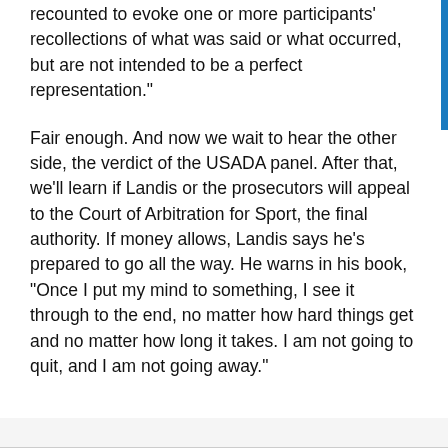recounted to evoke one or more participants' recollections of what was said or what occurred, but are not intended to be a perfect representation."
Fair enough. And now we wait to hear the other side, the verdict of the USADA panel. After that, we'll learn if Landis or the prosecutors will appeal to the Court of Arbitration for Sport, the final authority. If money allows, Landis says he's prepared to go all the way. He warns in his book, "Once I put my mind to something, I see it through to the end, no matter how hard things get and no matter how long it takes. I am not going to quit, and I am not going away."